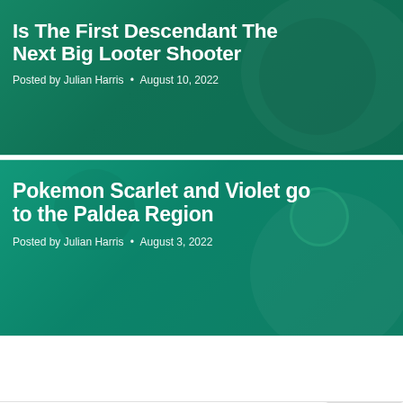[Figure (screenshot): Blog post card with green overlay showing 'Is The First Descendant The Next Big Looter Shooter' with author and date info]
Is The First Descendant The Next Big Looter Shooter
Posted by Julian Harris • August 10, 2022
[Figure (screenshot): Blog post card with teal overlay showing 'Pokemon Scarlet and Violet go to the Paldea Region' with author and date info]
Pokemon Scarlet and Violet go to the Paldea Region
Posted by Julian Harris • August 3, 2022
[Figure (photo): Author photo of a person with dark hair and glasses, partially visible circular crop]
Ethan Chen